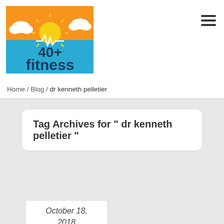[Figure (logo): 40+ Fitness logo with orange sky, sun, clouds, teal background and heartbeat line]
Home / Blog / dr kenneth pelletier
Tag Archives for " dr kenneth pelletier "
October 18, 2018